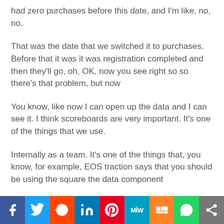had zero purchases before this date, and I'm like, no, no.
That was the date that we switched it to purchases. Before that it was it was registration completed and then they'll go, oh, OK, now you see right so so there's that problem, but now
You know, like now I can open up the data and I can see it. I think scoreboards are very important. It's one of the things that we use.
Internally as a team. It's one of the things that, you know, for example, EOS traction says that you should be using the square the data component
It's also something we use and within a lot, not keeping...